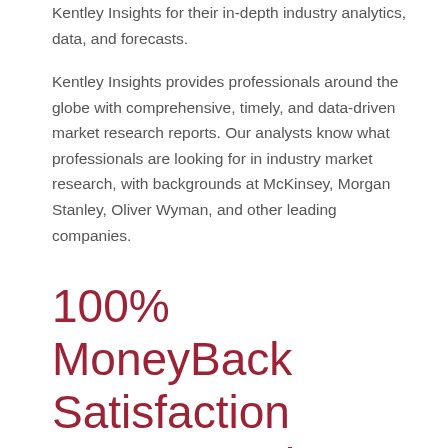Kentley Insights for their in-depth industry analytics, data, and forecasts.

Kentley Insights provides professionals around the globe with comprehensive, timely, and data-driven market research reports. Our analysts know what professionals are looking for in industry market research, with backgrounds at McKinsey, Morgan Stanley, Oliver Wyman, and other leading companies.
100% MoneyBack Satisfaction Guaranteed